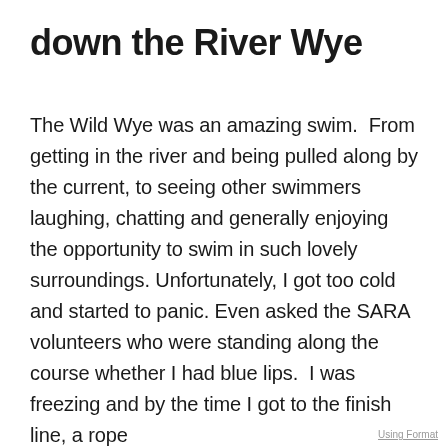down the River Wye
The Wild Wye was an amazing swim.  From getting in the river and being pulled along by the current, to seeing other swimmers laughing, chatting and generally enjoying the opportunity to swim in such lovely surroundings. Unfortunately, I got too cold and started to panic. Even asked the SARA volunteers who were standing along the course whether I had blue lips.  I was freezing and by the time I got to the finish line, a rope
Using Format